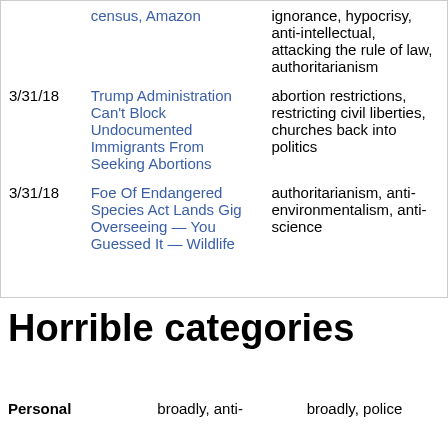| Date | Article | Tags |
| --- | --- | --- |
|  | census, Amazon | ignorance, hypocrisy, anti-intellectual, attacking the rule of law, authoritarianism |
| 3/31/18 | Trump Administration Can't Block Undocumented Immigrants From Seeking Abortions | abortion restrictions, restricting civil liberties, churches back into politics |
| 3/31/18 | Foe Of Endangered Species Act Lands Gig Overseeing — You Guessed It — Wildlife | authoritarianism, anti-environmentalism, anti-science |
Horrible categories
Personal
broadly, anti-
broadly, police